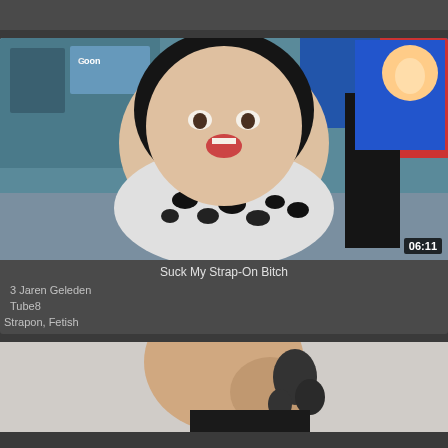[Figure (screenshot): Partial top card - video thumbnail cropped at top of page]
[Figure (screenshot): Video thumbnail showing woman in leopard print top in front of cartoon posters, with duration badge 06:11]
Suck My Strap-On Bitch
3 Jaren Geleden
Tube8
Strapon, Fetish
[Figure (screenshot): Partial bottom card - video thumbnail showing person with tattoos, cropped at bottom of page]